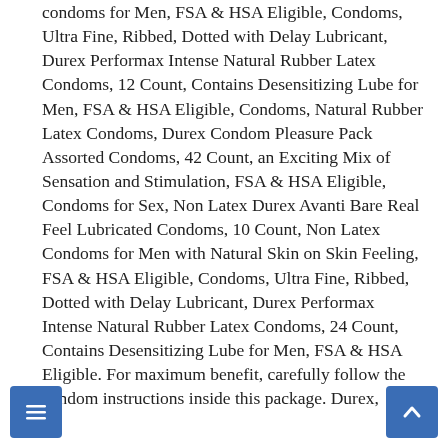condoms for Men, FSA & HSA Eligible, Condoms, Ultra Fine, Ribbed, Dotted with Delay Lubricant, Durex Performax Intense Natural Rubber Latex Condoms, 12 Count, Contains Desensitizing Lube for Men, FSA & HSA Eligible, Condoms, Natural Rubber Latex Condoms, Durex Condom Pleasure Pack Assorted Condoms, 42 Count, an Exciting Mix of Sensation and Stimulation, FSA & HSA Eligible, Condoms for Sex, Non Latex Durex Avanti Bare Real Feel Lubricated Condoms, 10 Count, Non Latex Condoms for Men with Natural Skin on Skin Feeling, FSA & HSA Eligible, Condoms, Ultra Fine, Ribbed, Dotted with Delay Lubricant, Durex Performax Intense Natural Rubber Latex Condoms, 24 Count, Contains Desensitizing Lube for Men, FSA & HSA Eligible. For maximum benefit, carefully follow the condom instructions inside this package. Durex,